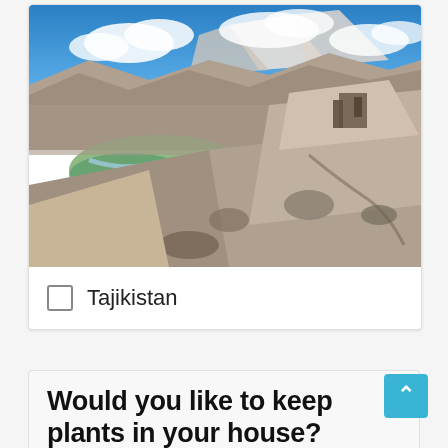[Figure (photo): Landscape photograph of Tajikistan showing rocky mountainous terrain with a river valley below, snow-capped peaks in the background, and a blue sky with white clouds. Ancient stone ruins visible on the right side of the rocky outcrop.]
Tajikistan
Would you like to keep plants in your house?